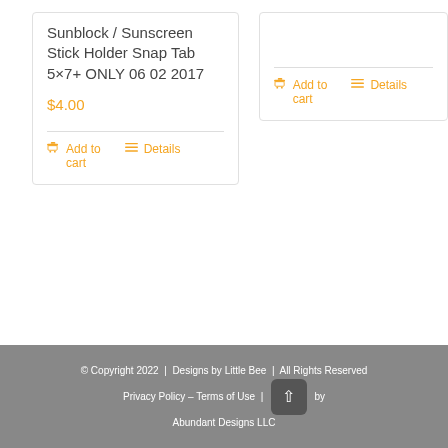Sunblock / Sunscreen Stick Holder Snap Tab 5×7+ ONLY 06 02 2017
$4.00
Add to cart
Details
Add to cart
Details
© Copyright 2022  |  Designs by Little Bee  |  All Rights Reserved  |  Privacy Policy – Terms of Use  |  by Abundant Designs LLC